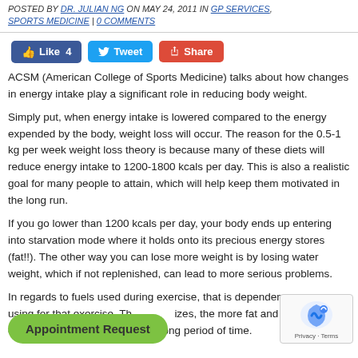POSTED BY DR. JULIAN NG ON MAY 24, 2011 IN GP SERVICES, SPORTS MEDICINE | 0 COMMENTS
[Figure (screenshot): Social sharing buttons: Like 4 (Facebook), Tweet (Twitter), Share (Google+)]
ACSM (American College of Sports Medicine) talks about how changes in energy intake play a significant role in reducing body weight.
Simply put, when energy intake is lowered compared to the energy expended by the body, weight loss will occur. The reason for the 0.5-1 kg per week weight loss theory is because many of these diets will reduce energy intake to 1200-1800 kcals per day. This is also a realistic goal for many people to attain, which will help keep them motivated in the long run.
If you go lower than 1200 kcals per day, your body ends up entering into starvation mode where it holds onto its precious energy stores (fat!!). The other way you can lose more weight is by losing water weight, which if not replenished, can lead to more serious problems.
In regards to fuels used during exercise, that is dependent on what you are using for that exercise. The more one exercises, the more fat and glucose they can breakdown for energy for a long period of time.